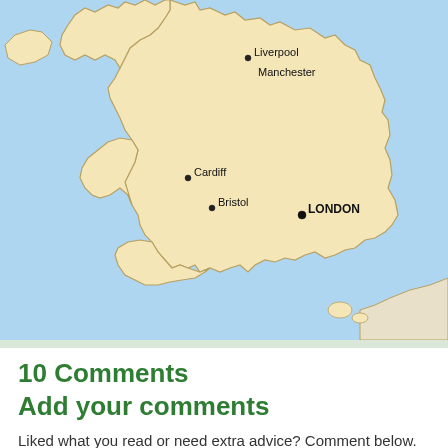[Figure (map): Map of England and Wales showing cities: Liverpool, Manchester, Cardiff, Bristol, and LONDON (bold). Land shown in pale yellow, sea in light blue. Partial view of northern France coastline visible at bottom right.]
10 Comments
Add your comments
Liked what you read or need extra advice? Comment below.
Please note that all information that you include in your comment will be shown on this page, together with your name. Your email address will not be shown.